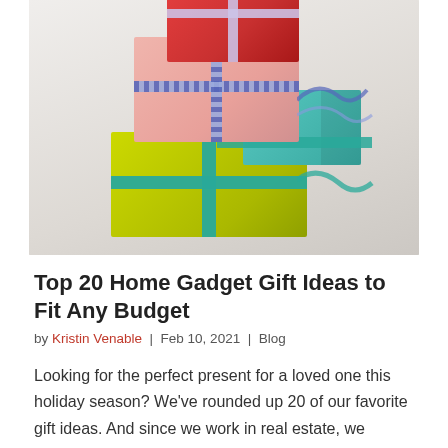[Figure (photo): Stack of three gift boxes with ribbons: a red box on top with lavender ribbon, a pink/salmon box in the middle with blue checkered ribbon, and a lime green box on the bottom with teal ribbon, stacked on a light gray-beige background.]
Top 20 Home Gadget Gift Ideas to Fit Any Budget
by Kristin Venable | Feb 10, 2021 | Blog
Looking for the perfect present for a loved one this holiday season? We've rounded up 20 of our favorite gift ideas. And since we work in real estate, we focused on items that add enjoyment, comfort and